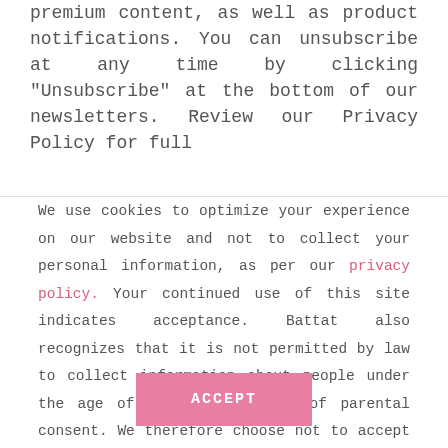premium content, as well as product notifications. You can unsubscribe at any time by clicking "Unsubscribe" at the bottom of our newsletters. Review our Privacy Policy for full
We use cookies to optimize your experience on our website and not to collect your personal information, as per our privacy policy. Your continued use of this site indicates acceptance. Battat also recognizes that it is not permitted by law to collect information about people under the age of 13 without proof of parental consent. We therefore choose not to accept website registrations or contact information from anybody who is under the age of 13.
ACCEPT